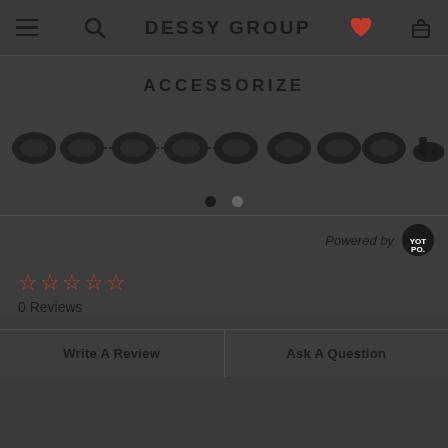DESSY GROUP
ACCESSORIZE
[Figure (screenshot): A horizontal row of small dark product thumbnail images (accessories/shoes) in a carousel layout]
Powered by Yotpo
0 Reviews
Write A Review
Ask A Question